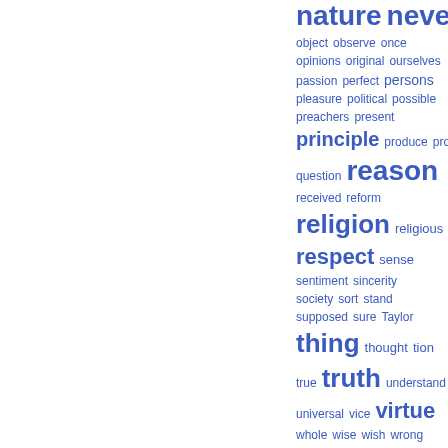[Figure (other): Word cloud showing terms in blue at varying sizes: nature, never (largest), followed by object, observe, once, opinions, original, ourselves, passion, perfect, persons, pleasure, political, possible, preachers, present, principle (large), produce, prove, question, reason (very large), received, reform, religion (very large), religious, respect (large), sense, sentiment, sincerity, society, sort, stand, supposed, sure, Taylor, thing (very large), thought, tion, true, truth (very large), understand, universal, vice, virtue (very large), whole, wise, wish, wrong]